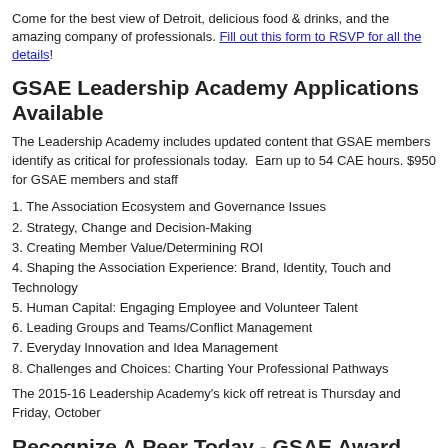Come for the best view of Detroit, delicious food & drinks, and the amazing company of professionals. Fill out this form to RSVP for all the details!
GSAE Leadership Academy Applications Available
The Leadership Academy includes updated content that GSAE members identify as critical for professionals today. Earn up to 54 CAE hours. $950 for GSAE members and staff
1. The Association Ecosystem and Governance Issues
2. Strategy, Change and Decision-Making
3. Creating Member Value/Determining ROI
4. Shaping the Association Experience: Brand, Identity, Touch and Technology
5. Human Capital: Engaging Employee and Volunteer Talent
6. Leading Groups and Teams/Conflict Management
7. Everyday Innovation and Idea Management
8. Challenges and Choices: Charting Your Professional Pathways
The 2015-16 Leadership Academy's kick off retreat is Thursday and Friday, October
Recognize A Peer Today - GSAE Award Nominations Due
GSAE recognizes excellence by presenting a variety of awards to members. To no contact Wendy Kavanagh, CAE, President, at wendy@gsae.org. For more informa